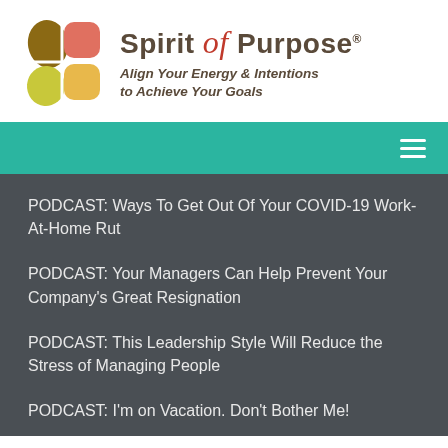[Figure (logo): Spirit of Purpose logo with colorful S-shaped icon and tagline: Align Your Energy & Intentions to Achieve Your Goals]
[Figure (other): Teal/green navigation bar with hamburger menu icon on the right]
PODCAST: Ways To Get Out Of Your COVID-19 Work-At-Home Rut
PODCAST: Your Managers Can Help Prevent Your Company's Great Resignation
PODCAST: This Leadership Style Will Reduce the Stress of Managing People
PODCAST: I'm on Vacation. Don't Bother Me!